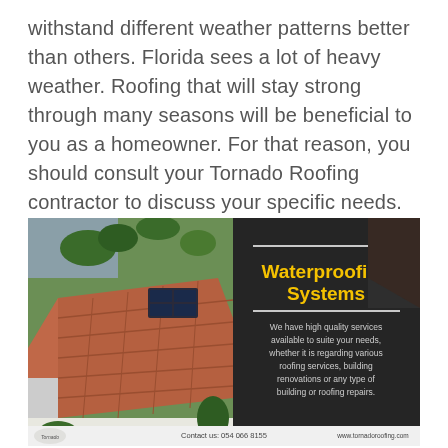withstand different weather patterns better than others. Florida sees a lot of heavy weather. Roofing that will stay strong through many seasons will be beneficial to you as a homeowner. For that reason, you should consult your Tornado Roofing contractor to discuss your specific needs.
[Figure (photo): Composite image showing aerial view of Florida house with tile roof on the left half, and a dark promotional panel on the right half with yellow bold text 'Waterproofing Systems', two white horizontal divider lines, and descriptive text about high quality roofing services. Bottom bar shows Tornado Roofing logo, phone number, and website.]